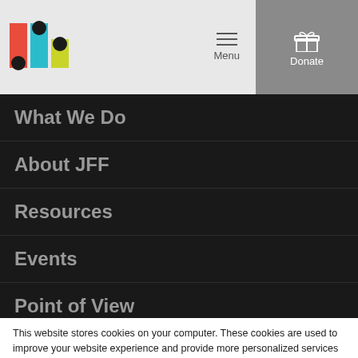[Figure (logo): JFF colorful logo with geometric shapes]
What We Do
About JFF
Resources
Events
Point of View
This website stores cookies on your computer. These cookies are used to improve your website experience and provide more personalized services to you, both on this website and through other media. To find out more about the cookies we use, see our Privacy Policy.
We won't track your information when you visit our site. But in order to comply with your preferences, we'll have to use just one tiny cookie so that you're not asked to make this choice again.